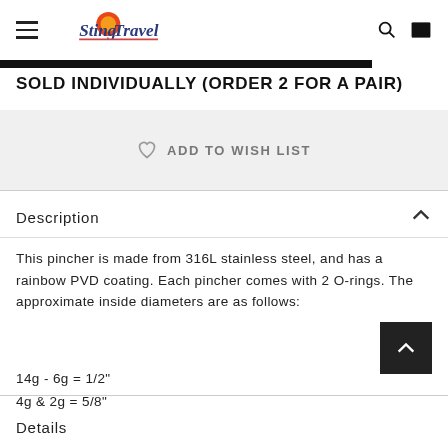Stinger Travel — navigation header with hamburger menu, logo, search and cart icons
SOLD INDIVIDUALLY (ORDER 2 FOR A PAIR)
ADD TO WISH LIST
Description
This pincher is made from 316L stainless steel, and has a rainbow PVD coating. Each pincher comes with 2 O-rings. The approximate inside diameters are as follows:
14g - 6g = 1/2"
4g & 2g = 5/8"
Details